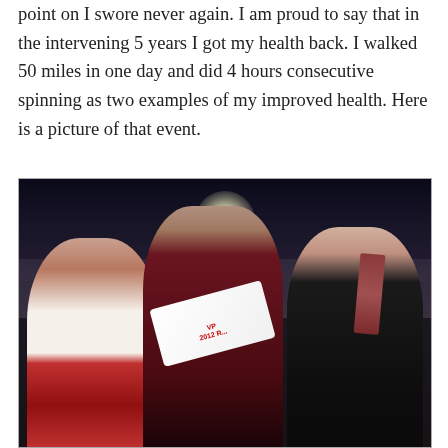point on I swore never again. I am proud to say that in the intervening 5 years I got my health back. I walked 50 miles in one day and did 4 hours consecutive spinning as two examples of my improved health. Here is a picture of that event.
[Figure (photo): A nighttime photo of three people posing at a stadium event. On the left is a woman wearing a white top and a red scarf. In the center is a young man wearing a dark maroon shirt and a white sash reading 'VP 2012 R...' On the right is an older man in a dark suit with a patterned tie. Bright stadium lights are visible in the background.]